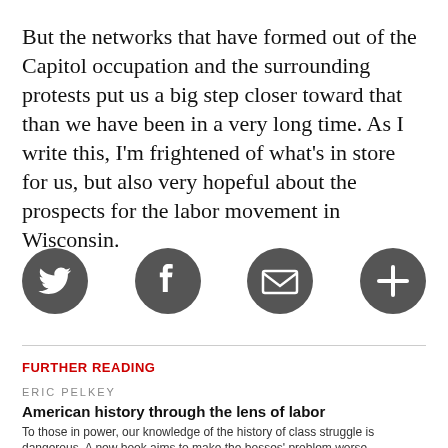But the networks that have formed out of the Capitol occupation and the surrounding protests put us a big step closer toward that than we have been in a very long time. As I write this, I'm frightened of what's in store for us, but also very hopeful about the prospects for the labor movement in Wisconsin.
[Figure (other): Row of four dark gray circular social sharing icons: Twitter bird, Facebook f, envelope/email, and plus/more button]
FURTHER READING
ERIC PELKEY
American history through the lens of labor
To those in power, our knowledge of the history of class struggle is dangerous. A new book aims to make the bosses' problem worse.